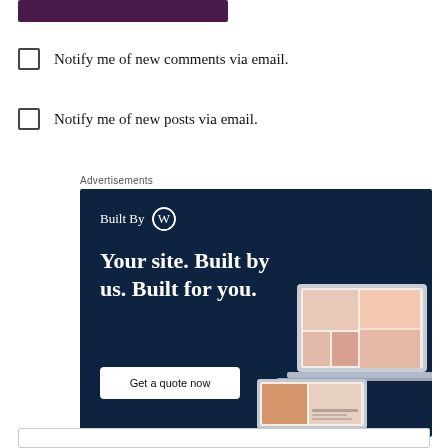[Figure (other): Purple/dark red rectangular button bar at top]
Notify me of new comments via email.
Notify me of new posts via email.
Advertisements
[Figure (illustration): WordPress 'Built By WP' advertisement banner with dark navy background. Text: 'Built By [WordPress logo]', 'Your site. Built by us. Built for you.', button 'Get a quote now', and mockup images of a website with fashion photos on the right side. Bottom right: 'REPORT THIS AD']